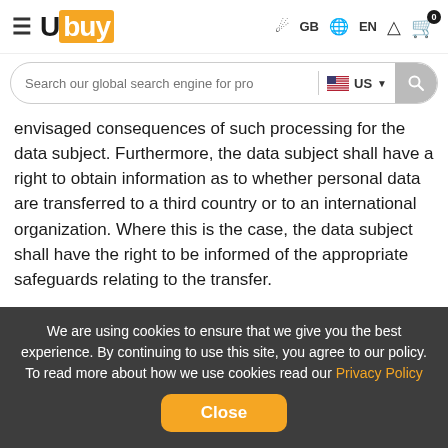Ubuy — GB EN — Cart 0
Search our global search engine for pro — US
envisaged consequences of such processing for the data subject. Furthermore, the data subject shall have a right to obtain information as to whether personal data are transferred to a third country or to an international organization. Where this is the case, the data subject shall have the right to be informed of the appropriate safeguards relating to the transfer.
If a data subject wishes to avail himself of this right of access, he or she may, at any time, contact any employee of the controller.
We are using cookies to ensure that we give you the best experience. By continuing to use this site, you agree to our policy. To read more about how we use cookies read our Privacy Policy Close